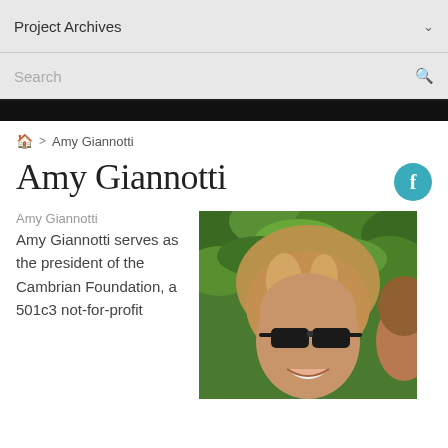Project Archives
Search
🏠 > Amy Giannotti
Amy Giannotti
Amy Giannotti
Amy Giannotti serves as the president of the Cambrian Foundation, a 501c3 not-for-profit
[Figure (photo): Portrait photo of Amy Giannotti wearing sunglasses, smiling, with green foliage background]